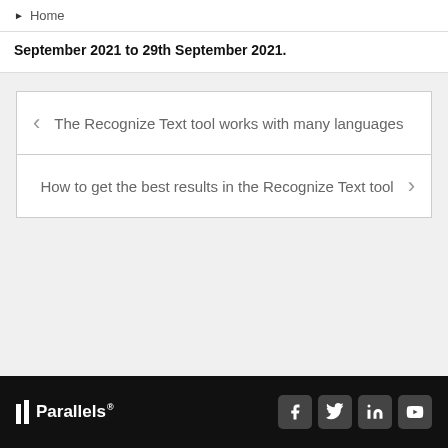Home
September 2021 to 29th September 2021.
The Recognize Text tool works with many languages
How to get the best results in the Recognize Text tool
|| Parallels®